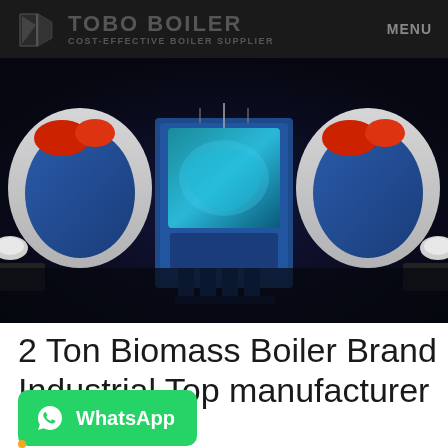TOBO BOILER COST-EFFECTIVE BOILER SUPPLIER   MENU
[Figure (photo): Industrial biomass boiler unit shown in a 3D render with blue and white casing, red accents, and mechanical components, displayed against a dark blue-black background.]
2 Ton Biomass Boiler Brand Industrial Top manufacturer
[Figure (other): WhatsApp contact button: green rounded rectangle with WhatsApp logo icon and text 'WhatsApp']